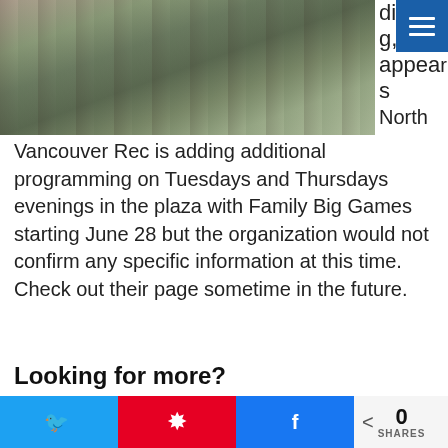[Figure (photo): Aerial or elevated view of a large group of people gathered in a circle or plaza, appearing to be doing a drum circle or outdoor activity. A blue flag/banner is visible on the right side.]
digging, it appears North Vancouver Rec is adding additional programming on Tuesdays and Thursdays evenings in the plaza with Family Big Games starting June 28 but the organization would not confirm any specific information at this time. Check out their page sometime in the future.
Looking for more?
There's always something fun and exciting